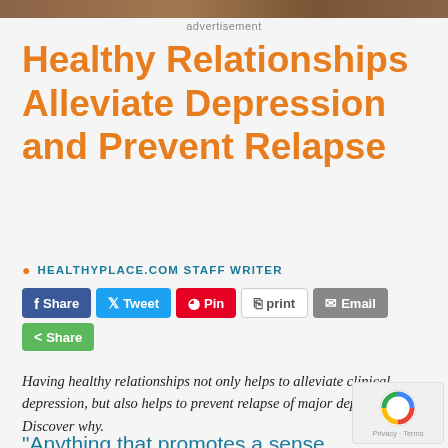[Figure (other): Advertisement banner image at the top of the page]
advertisement
Healthy Relationships Alleviate Depression and Prevent Relapse
HEALTHYPLACE.COM STAFF WRITER
[Figure (other): Social sharing buttons: Share (Facebook), Tweet, Pin, print, Email, Share]
Having healthy relationships not only helps to alleviate clinical depression, but also helps to prevent relapse of major depression. Discover why.
"Anything that promotes a sense of isolation leads to illness and suffering. Anything that promotes a sense of love and intimacy, connection